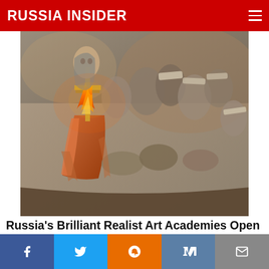RUSSIA INSIDER
[Figure (illustration): Russian realist painting depicting religious figures holding a cross with flames, in a boat. Multiple figures in ancient robes surround the scene.]
Russia's Brilliant Realist Art Academies Open to Americans in 2022 - Glazunov Academy (Photos, VIDEO)
Charles Bausman  (Russian Faith)  🔥 3,867  💬  Comments
[Figure (photo): Partially visible second image strip at bottom of article]
Social sharing bar: Facebook, Twitter, Reddit, VK, Email